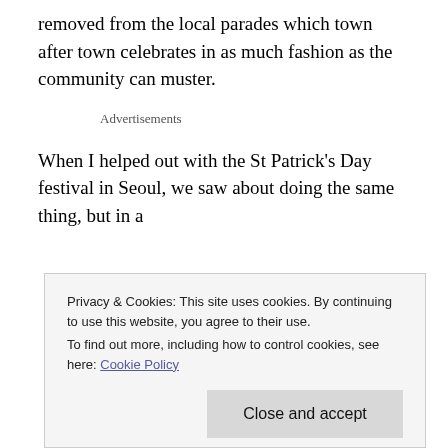removed from the local parades which town after town celebrates in as much fashion as the community can muster.
Advertisements
When I helped out with the St Patrick’s Day festival in Seoul, we saw about doing the same thing, but in a
Privacy & Cookies: This site uses cookies. By continuing to use this website, you agree to their use.
To find out more, including how to control cookies, see here: Cookie Policy
Close and accept